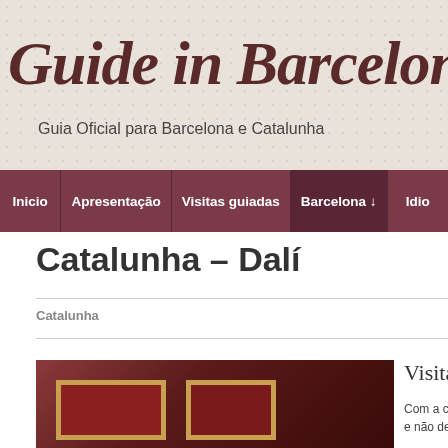Guide in Barcelona
Guia Oficial para Barcelona e Catalunha
Inicio | Apresentação | Visitas guiadas | Barcelona ↓ | Idio
Catalunha – Dalí
Catalunha
[Figure (photo): Photo showing framed artworks on a dark red background, related to Dalí exhibition in Catalonia]
Visita Catalu
Com a cidade de fi e não demasiado o